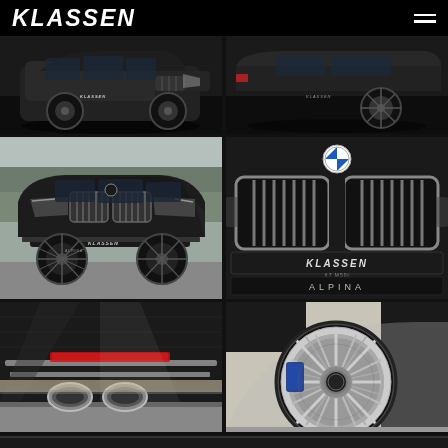[Figure (photo): KLASSEN branded website header with navigation bar showing KLASSEN logo in italic white text on black background with hamburger menu icon on the right]
[Figure (photo): Black BMW X7 luxury SUV front-left view, low angle shot in dark setting showing the front grille and wheel]
[Figure (photo): Black BMW X7 side-rear view showing wheel and lower body in dark setting]
[Figure (photo): Black BMW X7 Alpina full front view parked outdoors with trees in background, KLASSEN badge visible on front bumper]
[Figure (photo): Close-up of BMW X7 front grille with BMW roundel, showing large kidney grille with chrome surrounds, KLASSEN badge on lower bumper and ALPINA script on front lip]
[Figure (photo): Close-up of BMW X7 rear diffuser with twin oval exhaust tips and red reflector strip]
[Figure (photo): Close-up of large Alpina multi-spoke alloy wheel with blue brake calipers visible, dark fender arch]
[Figure (photo): Partial bottom strip showing black car body]